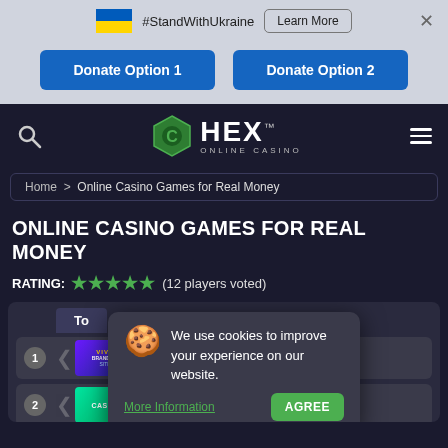[Figure (screenshot): Ukraine flag icon (blue and yellow) with #StandWithUkraine text, Learn More button, and X close button on grey banner]
Donate Option 1
Donate Option 2
[Figure (logo): HEX Online Casino logo with hexagon badge icon, white HEX text and ONLINE CASINO subtitle. Search icon on left, hamburger menu on right.]
Home > Online Casino Games for Real Money
ONLINE CASINO GAMES FOR REAL MONEY
RATING: ★★★★★ (12 players voted)
[Figure (screenshot): Casino listing section partially visible with Tc tab header, casino #1 (Viva brand new site) and casino #2 (Casushi) rows]
We use cookies to improve your experience on our website.
More Information
AGREE